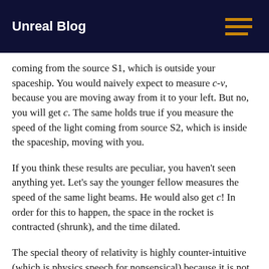Unreal Blog
coming from the source S1, which is outside your spaceship. You would naively expect to measure c-v, because you are moving away from it to your left. But no, you will get c. The same holds true if you measure the speed of the light coming from source S2, which is inside the spaceship, moving with you.
If you think these results are peculiar, you haven't seen anything yet. Let's say the younger fellow measures the speed of the same light beams. He would also get c! In order for this to happen, the space in the rocket is contracted (shrunk), and the time dilated.
The special theory of relativity is highly counter-intuitive (which is physics speech for nonsensical) because it is not as though the rocket is really moving. Remember, only relative motion has physical significance, which is the principle of